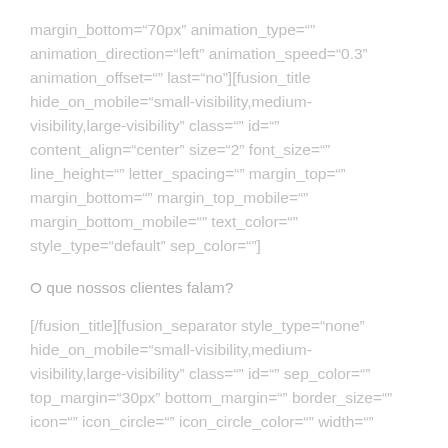margin_bottom="70px" animation_type="" animation_direction="left" animation_speed="0.3" animation_offset="" last="no"][fusion_title hide_on_mobile="small-visibility,medium-visibility,large-visibility" class="" id="" content_align="center" size="2" font_size="" line_height="" letter_spacing="" margin_top="" margin_bottom="" margin_top_mobile="" margin_bottom_mobile="" text_color="" style_type="default" sep_color=""]
O que nossos clientes falam?
[/fusion_title][fusion_separator style_type="none" hide_on_mobile="small-visibility,medium-visibility,large-visibility" class="" id="" sep_color="" top_margin="30px" bottom_margin="" border_size="" icon="" icon_circle="" icon_circle_color="" width=""